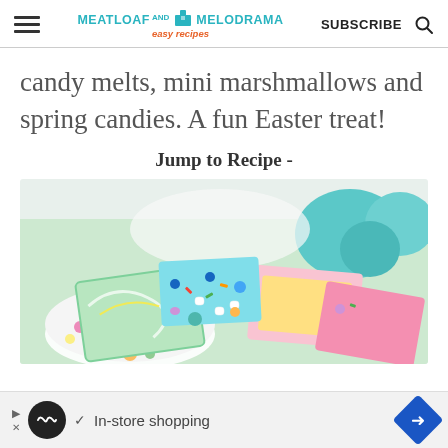MEATLOAF AND MELODRAMA easy recipes | SUBSCRIBE
candy melts, mini marshmallows and spring candies. A fun Easter treat!
Jump to Recipe -
[Figure (photo): Colorful Easter candy bark with mini marshmallows, sprinkles, and pastel candy melts in a polka dot bowl, with teal cake pops in background]
In-store shopping